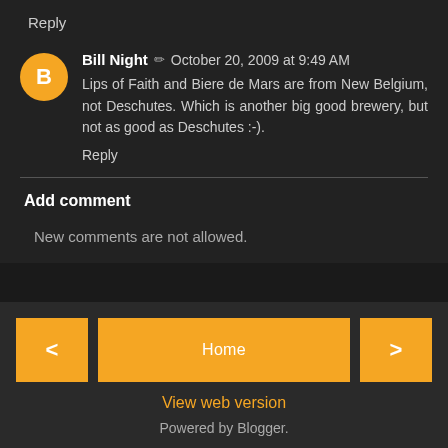Reply
Bill Night / October 20, 2009 at 9:49 AM
Lips of Faith and Biere de Mars are from New Belgium, not Deschutes. Which is another big good brewery, but not as good as Deschutes :-).
Reply
Add comment
New comments are not allowed.
< Home > View web version Powered by Blogger.